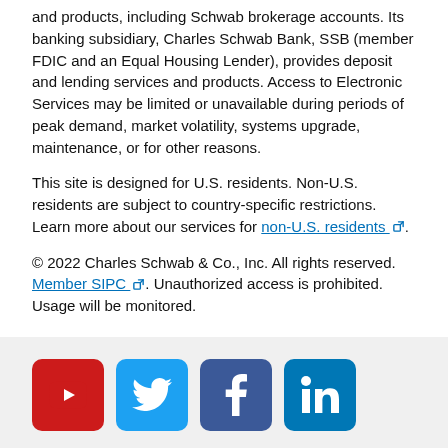and products, including Schwab brokerage accounts. Its banking subsidiary, Charles Schwab Bank, SSB (member FDIC and an Equal Housing Lender), provides deposit and lending services and products. Access to Electronic Services may be limited or unavailable during periods of peak demand, market volatility, systems upgrade, maintenance, or for other reasons.
This site is designed for U.S. residents. Non-U.S. residents are subject to country-specific restrictions. Learn more about our services for non-U.S. residents [external link].
© 2022 Charles Schwab & Co., Inc. All rights reserved. Member SIPC [external link]. Unauthorized access is prohibited. Usage will be monitored.
[Figure (other): Row of four social media icons: YouTube (red), Twitter (blue), Facebook (dark blue), LinkedIn (blue)]
[Figure (other): Own your tomorrow cursive script tagline/logo]
Site Map | SchwabSafe | Privacy | Online Privacy | Additional Schwab Sites | Business Continuity |